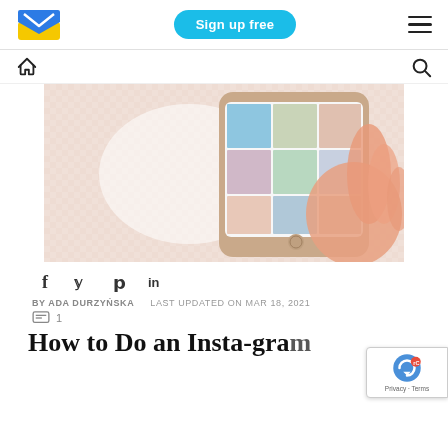Sign up free | [logo] | [hamburger menu]
[Figure (logo): Sendinblue envelope logo — blue and yellow]
[Figure (infographic): Hand holding a smartphone displaying an Instagram photo grid feed, lying on a pink gingham surface]
f  y  p  in (social share icons)
BY ADA DURZYŃSKA   LAST UPDATED ON MAR 18, 2021
comment icon  1
How to Do an Insta-gram...